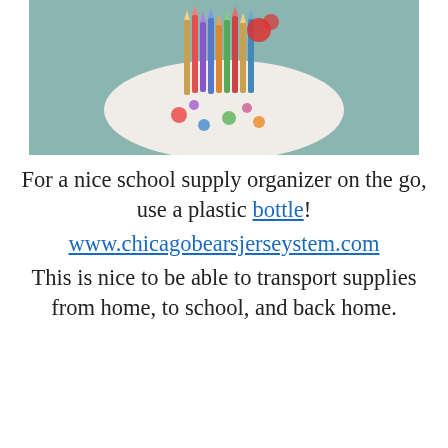[Figure (photo): A decorative plastic bottle/container holding colored pencils, shot from above at an angle against a teal/green background. The bottle has colorful polka-dot patterning.]
For a nice school supply organizer on the go, use a plastic bottle! www.chicagobearsjerseystem.com This is nice to be able to transport supplies from home, to school, and back home.